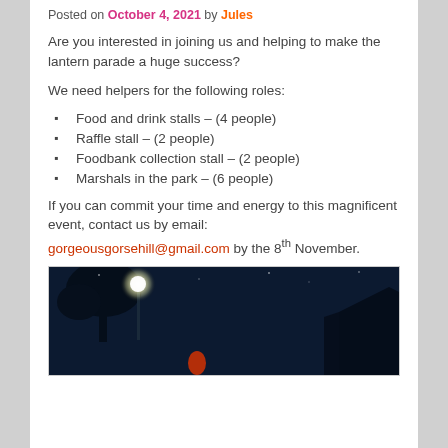Posted on October 4, 2021 by Jules
Are you interested in joining us and helping to make the lantern parade a huge success?
We need helpers for the following roles:
Food and drink stalls – (4 people)
Raffle stall – (2 people)
Foodbank collection stall – (2 people)
Marshals in the park – (6 people)
If you can commit your time and energy to this magnificent event, contact us by email: gorgeousgorsehill@gmail.com by the 8th November.
[Figure (photo): Night scene with street light glowing, tree silhouettes, a red lantern in the distance, and a house with lit window on the right]